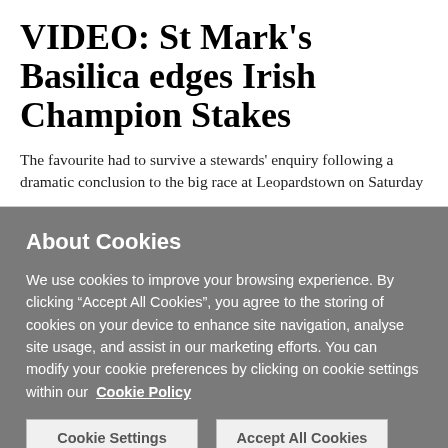VIDEO: St Mark's Basilica edges Irish Champion Stakes
The favourite had to survive a stewards' enquiry following a dramatic conclusion to the big race at Leopardstown on Saturday
About Cookies
We use cookies to improve your browsing experience. By clicking “Accept All Cookies”, you agree to the storing of cookies on your device to enhance site navigation, analyse site usage, and assist in our marketing efforts. You can modify your cookie preferences by clicking on cookie settings within our  Cookie Policy
Cookie Settings
Accept All Cookies